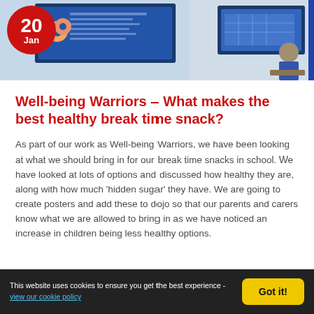[Figure (photo): Classroom photo with date circle showing 20 Jan in red, students and interactive whiteboards visible]
Well-being Warriors - What makes the best healthy break time snack?
As part of our work as Well-being Warriors, we have been looking at what we should bring in for our break time snacks in school. We have looked at lots of options and discussed how healthy they are, along with how much ‘hidden sugar’ they have. We are going to create posters and add these to dojo so that our parents and carers know what we are allowed to bring in as we have noticed an increase in children being less healthy options.
This website uses cookies to ensure you get the best experience - view our cookie policy   Got it!